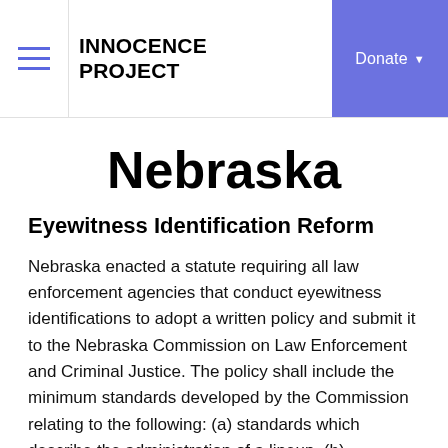INNOCENCE PROJECT | Donate
Nebraska
Eyewitness Identification Reform
Nebraska enacted a statute requiring all law enforcement agencies that conduct eyewitness identifications to adopt a written policy and submit it to the Nebraska Commission on Law Enforcement and Criminal Justice. The policy shall include the minimum standards developed by the Commission relating to the following: (a) standards which describe the administration of a lineup, (b) procedures governing